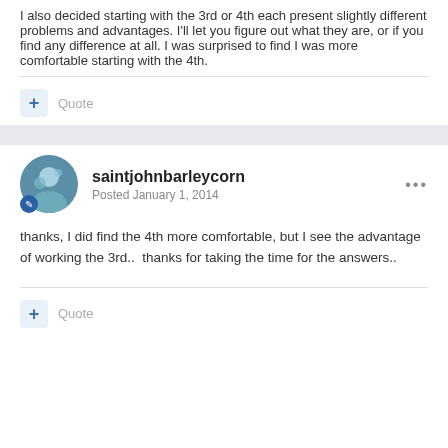I also decided starting with the 3rd or 4th each present slightly different problems and advantages. I'll let you figure out what they are, or if you find any difference at all. I was surprised to find I was more comfortable starting with the 4th.
Quote
saintjohnbarleycorn
Posted January 1, 2014
thanks, I did find the 4th more comfortable, but I see the advantage of working the 3rd..  thanks for taking the time for the answers..
Quote